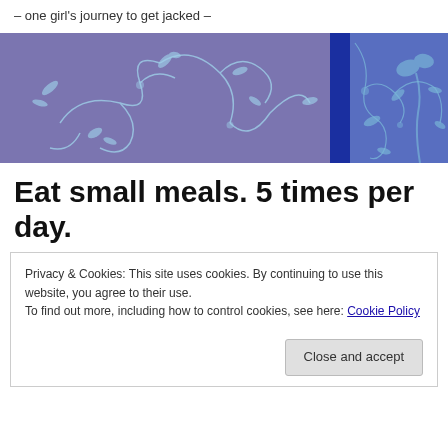– one girl's journey to get jacked –
[Figure (illustration): Decorative banner with purple/violet background featuring light blue floral and scroll patterns, with a darker blue vertical stripe on the right side containing similar floral motifs.]
Eat small meals. 5 times per day.
Privacy & Cookies: This site uses cookies. By continuing to use this website, you agree to their use.
To find out more, including how to control cookies, see here: Cookie Policy
Close and accept